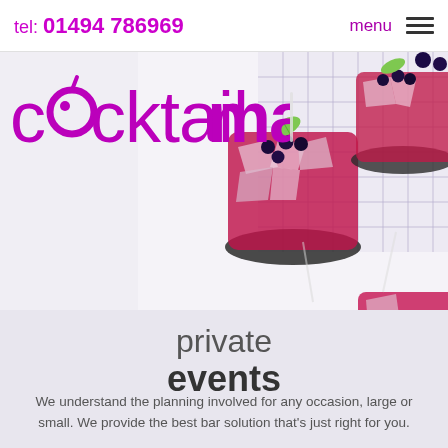tel: 01494 786969   menu
[Figure (logo): cocktailmaker logo in purple with stylized olive/circle replacing the 'o']
[Figure (photo): Overhead view of pink/magenta cocktails garnished with blueberries and lime slices on a checked cloth background]
private events
We understand the planning involved for any occasion, large or small. We provide the best bar solution that's just right for you.